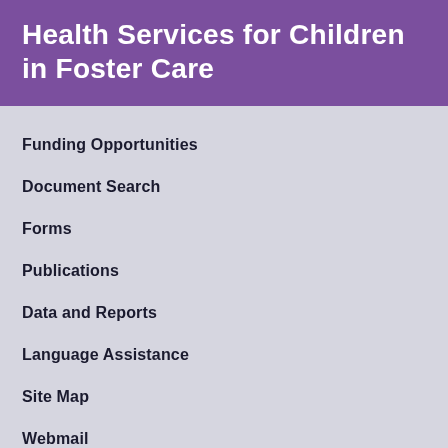Health Services for Children in Foster Care
Funding Opportunities
Document Search
Forms
Publications
Data and Reports
Language Assistance
Site Map
Webmail